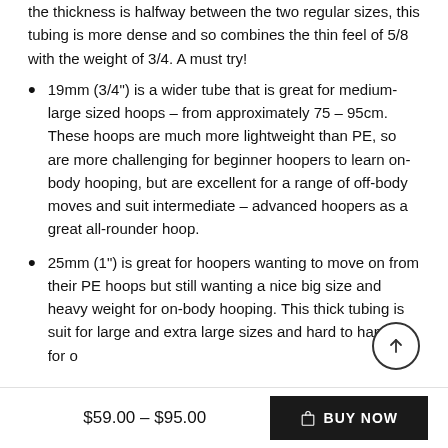the thickness is halfway between the two regular sizes, this tubing is more dense and so combines the thin feel of 5/8 with the weight of 3/4. A must try!
19mm (3/4") is a wider tube that is great for medium-large sized hoops – from approximately 75 – 95cm. These hoops are much more lightweight than PE, so are more challenging for beginner hoopers to learn on-body hooping, but are excellent for a range of off-body moves and suit intermediate – advanced hoopers as a great all-rounder hoop.
25mm (1") is great for hoopers wanting to move on from their PE hoops but still wanting a nice big size and heavy weight for on-body hooping. This thick tubing is suit for large and extra large sizes and hard to handle for o…
$59.00 – $95.00
BUY NOW